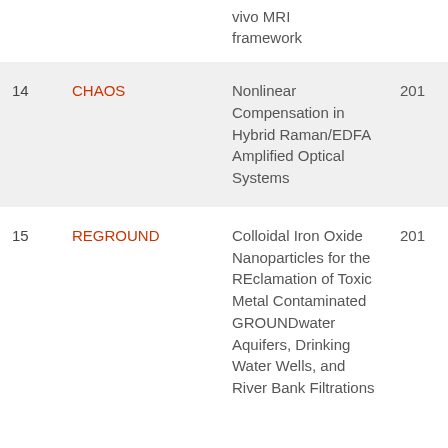| # | Acronym | Title | Year |
| --- | --- | --- | --- |
|  |  | vivo MRI framework |  |
| 14 | CHAOS | Nonlinear Compensation in Hybrid Raman/EDFA Amplified Optical Systems | 201 |
| 15 | REGROUND | Colloidal Iron Oxide Nanoparticles for the REclamation of Toxic Metal Contaminated GROUNDwater Aquifers, Drinking Water Wells, and River Bank Filtrations | 201 |